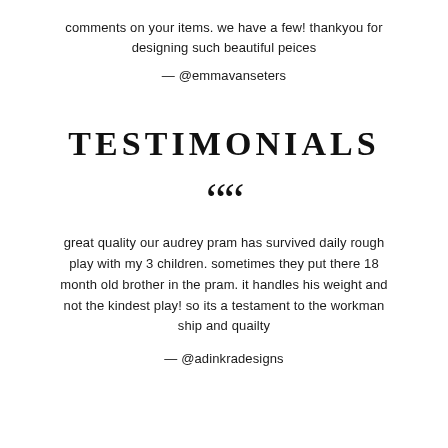comments on your items. we have a few! thankyou for designing such beautiful peices
— @emmavanseters
TESTIMONIALS
““
great quality our audrey pram has survived daily rough play with my 3 children. sometimes they put there 18 month old brother in the pram. it handles his weight and not the kindest play! so its a testament to the workman ship and quailty
— @adinkradesigns